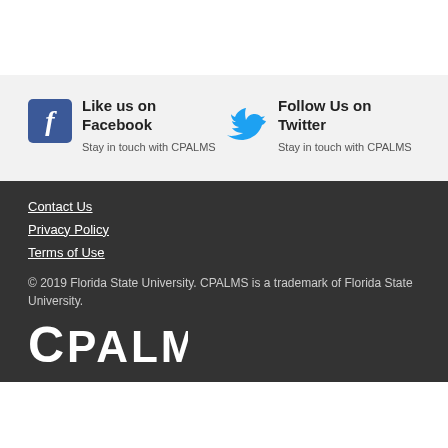[Figure (logo): Facebook logo icon - blue square with white letter f]
Like us on Facebook
Stay in touch with CPALMS
[Figure (logo): Twitter bird logo icon - blue bird silhouette]
Follow Us on Twitter
Stay in touch with CPALMS
Contact Us
Privacy Policy
Terms of Use
© 2019 Florida State University. CPALMS is a trademark of Florida State University.
[Figure (logo): CPALMS logo in white text]